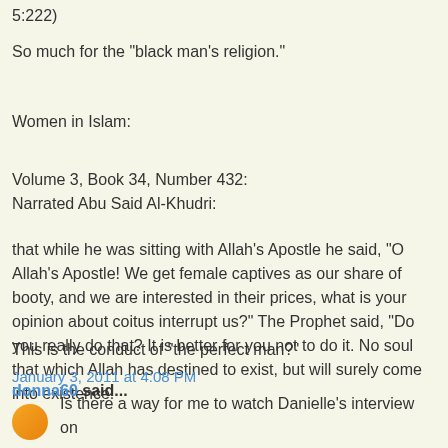5:222)
So much for the "black man's religion."
Women in Islam:
Volume 3, Book 34, Number 432:
Narrated Abu Said Al-Khudri:
that while he was sitting with Allah's Apostle he said, "O Allah's Apostle! We get female captives as our share of booty, and we are interested in their prices, what is your opinion about coitus interrupt us?" The Prophet said, "Do you really do that? It is better for you not to do it. No soul that which Allah has destined to exist, but will surely come into existence.
This is the conduct of "the perfect man?"
January 3, 2011 at 4:08 PM
donna60 said...
Is there a way for me to watch Danielle's interview on